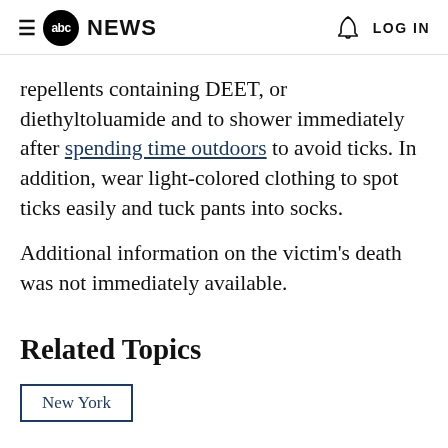abc NEWS   LOG IN
repellents containing DEET, or diethyltoluamide and to shower immediately after spending time outdoors to avoid ticks. In addition, wear light-colored clothing to spot ticks easily and tuck pants into socks.
Additional information on the victim's death was not immediately available.
Related Topics
New York